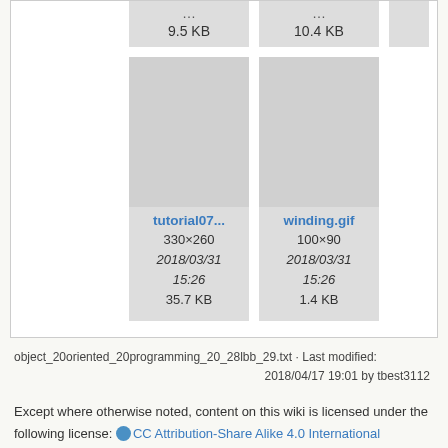[Figure (screenshot): File browser showing top row file cards partially visible: two cards showing '9.5 KB' and '10.4 KB']
[Figure (screenshot): File card for tutorial07... showing 330×260, 2018/03/31 15:26, 35.7 KB]
[Figure (screenshot): File card for winding.gif showing 100×90, 2018/03/31 15:26, 1.4 KB]
object_20oriented_20programming_20_28lbb_29.txt · Last modified: 2018/04/17 19:01 by tbest3112
Except where otherwise noted, content on this wiki is licensed under the following license: CC Attribution-Share Alike 4.0 International